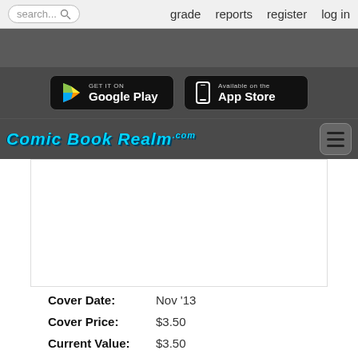search...  grade  reports  register  log in
[Figure (logo): Comic Book Realm .com logo with Google Play and App Store download buttons]
Cover Date: Nov '13
Cover Price: $3.50
Current Value: $3.50
Searched: 587